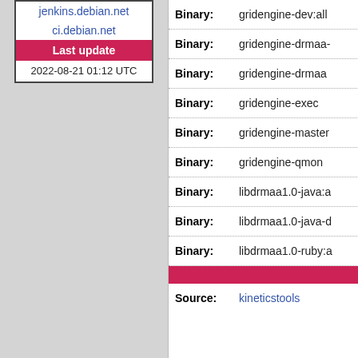jenkins.debian.net
ci.debian.net
Last update
2022-08-21 01:12 UTC
| Field | Value |
| --- | --- |
| Binary: | gridengine-dev:all |
| Binary: | gridengine-drmaa- |
| Binary: | gridengine-drmaa |
| Binary: | gridengine-exec |
| Binary: | gridengine-master |
| Binary: | gridengine-qmon |
| Binary: | libdrmaa1.0-java:a |
| Binary: | libdrmaa1.0-java-d |
| Binary: | libdrmaa1.0-ruby:a |
Source: kineticstools